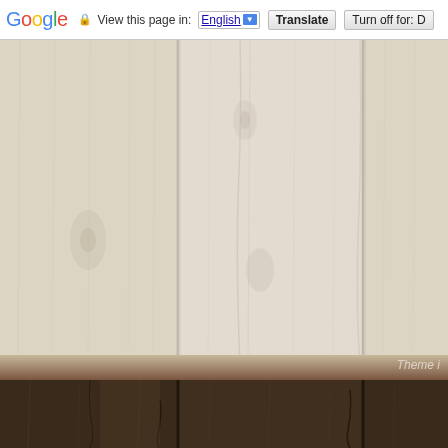[Figure (screenshot): Google Translate toolbar at top of browser page showing 'View this page in: English [dropdown] Translate | Turn off for: D' with a lock icon before 'View this page in']
[Figure (photo): Light-colored wood plank background texture with vertical planks showing grain and subtle knots, occupying the main portion of the page]
Theme i
[Figure (photo): Dark brown wood plank texture at the bottom of the page with visible grain and cracks]